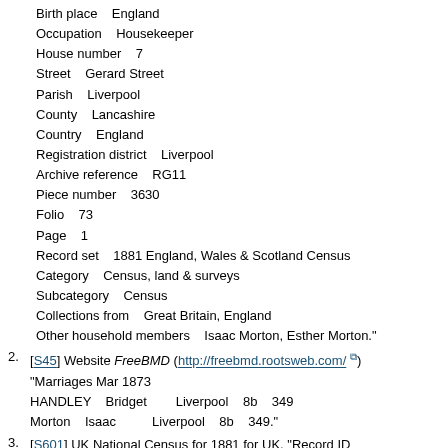Birth place    England
Occupation    Housekeeper
House number    7
Street    Gerard Street
Parish    Liverpool
County    Lancashire
Country    England
Registration district    Liverpool
Archive reference    RG11
Piece number    3630
Folio    73
Page    1
Record set    1881 England, Wales & Scotland Census
Category    Census, land & surveys
Subcategory    Census
Collections from    Great Britain, England
Other household members    Isaac Morton, Esther Morton."
[S45] Website FreeBMD (http://freebmd.rootsweb.com/) "Marriages Mar 1873
HANDLEY    Bridget        Liverpool    8b    349
Morton    Isaac          Liverpool    8b    349."
[S601] UK National Census for 1881 for UK, "Record ID    GBC/1881/0016570759
URL    https://www.findmypast.co.uk/transcript
First name(s)    Isaac
Last name    Morton
Relationship    Head
Marital status    Married
Sex    Male
Age    32